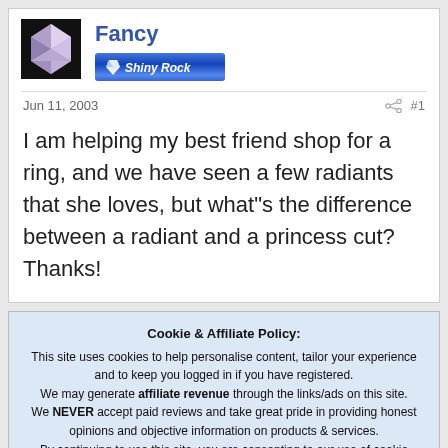Fancy
[Figure (other): Diamond/gem avatar image and Shiny Rock badge]
Jun 11, 2003   #1
I am helping my best friend shop for a ring, and we have seen a few radiants that she loves, but what"s the difference between a radiant and a princess cut? Thanks!
Cookie & Affiliate Policy: This site uses cookies to help personalise content, tailor your experience and to keep you logged in if you have registered. We may generate affiliate revenue through the links/ads on this site. We NEVER accept paid reviews and take great pride in providing honest opinions and objective information on products & services. By continuing to use this site, you are consenting to our use of cookie policy.